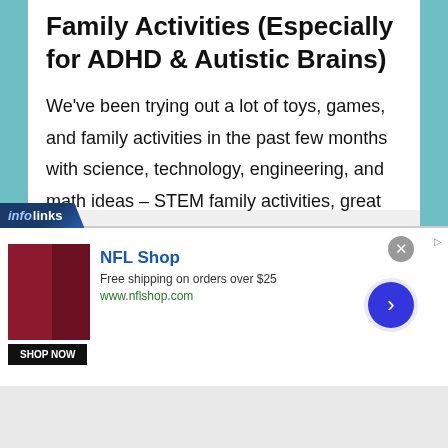Family Activities (Especially for ADHD & Autistic Brains)
We've been trying out a lot of toys, games, and family activities in the past few months with science, technology, engineering, and math ideas – STEM family activities, great for …
Read More →
[Figure (screenshot): Infolinks ad banner with NFL Shop advertisement showing red jersey image, 'SHOP NOW' button, brand name 'NFL Shop', tagline 'Free shipping on orders over $25', URL 'www.nflshop.com', close button, and navigation arrow button]